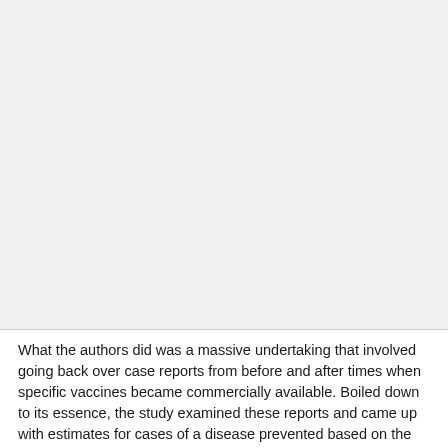[Figure (other): Large blank or obscured image area occupying the top portion of the page]
What the authors did was a massive undertaking that involved going back over case reports from before and after times when specific vaccines became commercially available. Boiled down to its essence, the study examined these reports and came up with estimates for cases of a disease prevented based on the